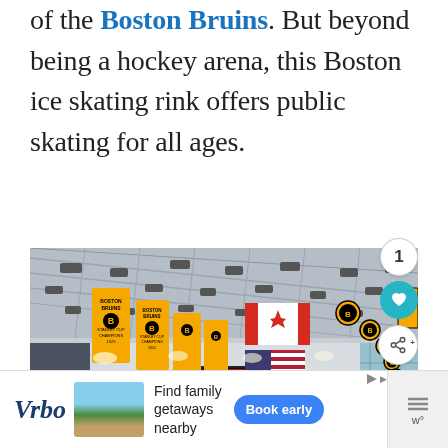of the Boston Bruins. But beyond being a hockey arena, this Boston ice skating rink offers public skating for all ages.
[Figure (photo): Interior of a hockey arena showing the high ceiling with steel trusses, hanging arena lights, Boston Bruins championship banners in gold, Canadian and American flags hanging from the rafters, and Bruins logo medallions.]
[Figure (infographic): Advertisement banner for Vrbo featuring logo, beach vacation image, text 'Find family getaways nearby', and a 'Book early' blue button.]